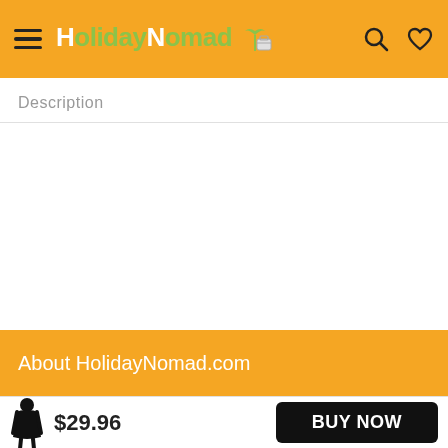HolidayNomad
Description
About HolidayNomad.com
$29.96
BUY NOW